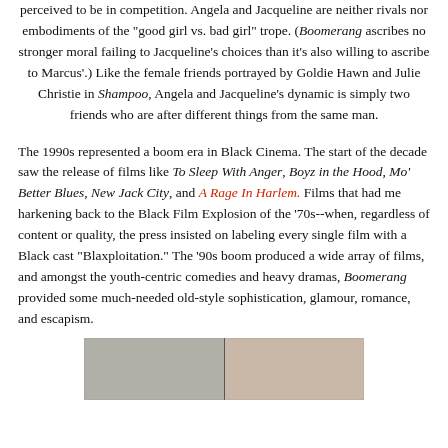perceived to be in competition. Angela and Jacqueline are neither rivals nor embodiments of the "good girl vs. bad girl" trope. (Boomerang ascribes no stronger moral failing to Jacqueline's choices than it's also willing to ascribe to Marcus'.) Like the female friends portrayed by Goldie Hawn and Julie Christie in Shampoo, Angela and Jacqueline's dynamic is simply two friends who are after different things from the same man.
The 1990s represented a boom era in Black Cinema. The start of the decade saw the release of films like To Sleep With Anger, Boyz in the Hood, Mo' Better Blues, New Jack City, and A Rage In Harlem. Films that had me harkening back to the Black Film Explosion of the '70s--when, regardless of content or quality, the press insisted on labeling every single film with a Black cast "Blaxploitation." The '90s boom produced a wide array of films, and amongst the youth-centric comedies and heavy dramas, Boomerang provided some much-needed old-style sophistication, glamour, romance, and escapism.
[Figure (photo): A strip photo showing two people, partially visible at the bottom of the page.]